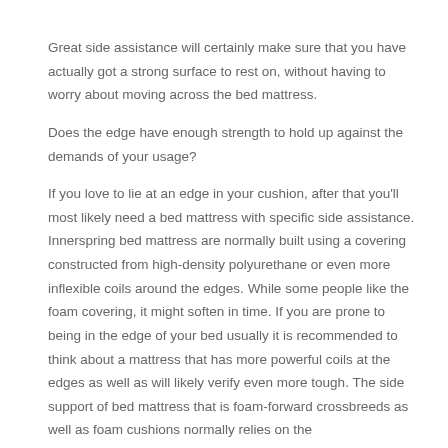Great side assistance will certainly make sure that you have actually got a strong surface to rest on, without having to worry about moving across the bed mattress. Does the edge have enough strength to hold up against the demands of your usage?
If you love to lie at an edge in your cushion, after that you'll most likely need a bed mattress with specific side assistance. Innerspring bed mattress are normally built using a covering constructed from high-density polyurethane or even more inflexible coils around the edges. While some people like the foam covering, it might soften in time. If you are prone to being in the edge of your bed usually it is recommended to think about a mattress that has more powerful coils at the edges as well as will likely verify even more tough. The side support of bed mattress that is foam-forward crossbreeds as well as foam cushions normally relies on the